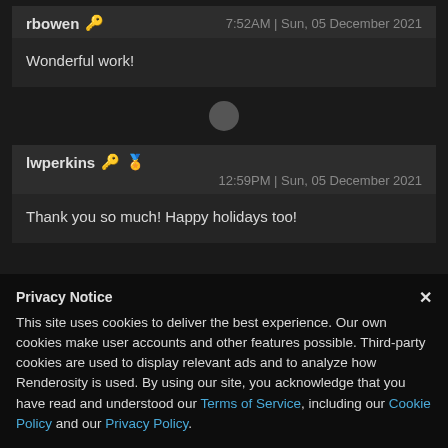rbowen  7:52AM | Sun, 05 December 2021
Wonderful work!
lwperkins  12:59PM | Sun, 05 December 2021
Thank you so much! Happy holidays too!
Privacy Notice
This site uses cookies to deliver the best experience. Our own cookies make user accounts and other features possible. Third-party cookies are used to display relevant ads and to analyze how Renderosity is used. By using our site, you acknowledge that you have read and understood our Terms of Service, including our Cookie Policy and our Privacy Policy.